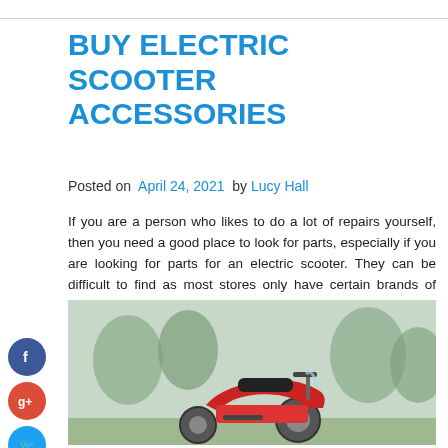BUY ELECTRIC SCOOTER ACCESSORIES
Posted on April 24, 2021 by Lucy Hall
If you are a person who likes to do a lot of repairs yourself, then you need a good place to look for parts, especially if you are looking for parts for an electric scooter. They can be difficult to find as most stores only have certain brands of parts. When you have a scooter with a brand that's hard to reach, finding replacement parts can be a tedious task. The best way to find a rare item is by looking online. You can also surf the internet to get the best electric scooter accessories with the best features.
[Figure (photo): A red electric scooter parked outdoors with trees in the background]